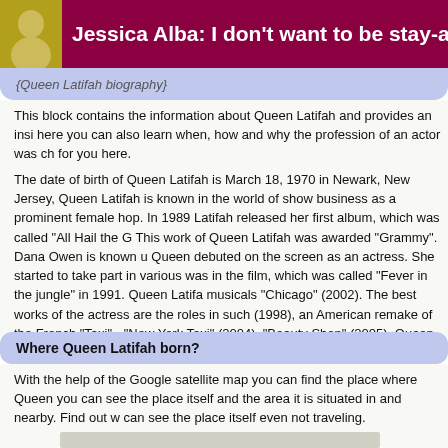Jessica Alba: I don't want to be stay-at-
{Queen Latifah biography}
This block contains the information about Queen Latifah and provides an insight into her biography; here you can also learn when, how and why the profession of an actor was chosen. All this is waiting for you here.
The date of birth of Queen Latifah is March 18, 1970 in Newark, New Jersey, USA. Queen Latifah is known in the world of show business as a prominent female representative of hip hop. In 1989 Latifah released her first album, which was called "All Hail the Queen". This work of Queen Latifah was awarded "Grammy". Dana Owen is known under stage name. Queen debuted on the screen as an actress. She started to take part in various films. The first was in the film, which was called "Fever in the jungle" in 1991. Queen Latifah also starred in musicals "Chicago" (2002). The best works of the actress are the roles in such films: "Sphere" (1998), an American remake of the French "Taxi" - "New York Taxi" (2004), "Last Holiday," "Beauty Shop" (2005). Queen Latifah is a composer, producer and screenwriter. Now Queen Latifah is a popular singer and actress.
Where Queen Latifah born?
With the help of the Google satellite map you can find the place where Queen Latifah was born, you can see the place itself and the area it is situated in and nearby. Find out where this is - you can see the place itself even not traveling.
[Figure (map): Google satellite map placeholder showing Queen Latifah's birthplace]